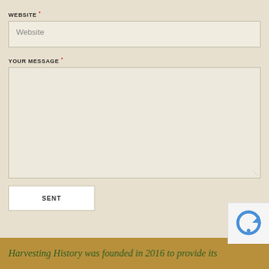WEBSITE *
Website
YOUR MESSAGE *
SENT
Harvesting History was founded in 2016 to provide its